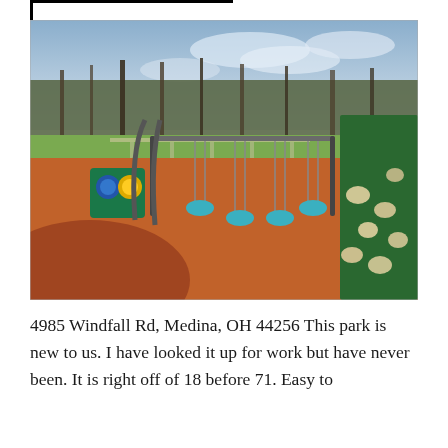[Figure (photo): Outdoor playground with rubber red/orange surface, swing set with teal disc seats, green climbing wall with rock holds on the right, teal interactive panels on the left, and a park landscape with paths, grass, and bare trees in the background under a cloudy sky.]
4985 Windfall Rd, Medina, OH 44256 This park is new to us. I have looked it up for work but have never been. It is right off of 18 before 71. Easy to